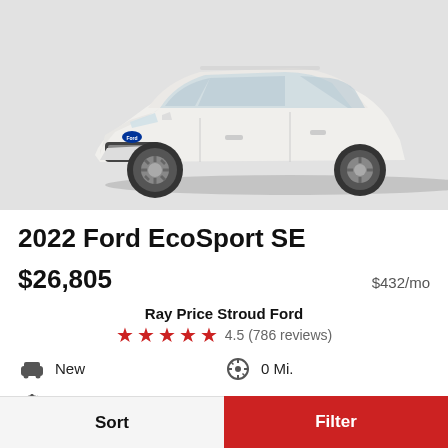[Figure (photo): White 2022 Ford EcoSport SE SUV shown from a front 3/4 angle on a light gray background.]
2022 Ford EcoSport SE
$26,805   $432/mo
Ray Price Stroud Ford
4.5 (786 reviews)
New
0 Mi.
Automatic
4WD-AWD
White
4 Cyl.
Sort   Filter